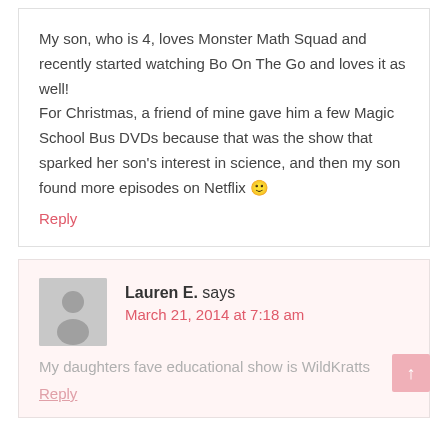My son, who is 4, loves Monster Math Squad and recently started watching Bo On The Go and loves it as well!
For Christmas, a friend of mine gave him a few Magic School Bus DVDs because that was the show that sparked her son's interest in science, and then my son found more episodes on Netflix 🙂
Reply
Lauren E. says
March 21, 2014 at 7:18 am
My daughters fave educational show is WildKratts
Reply